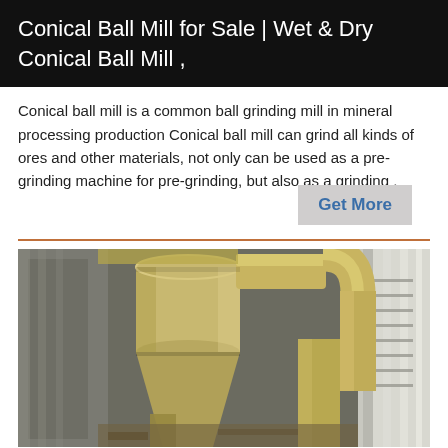Conical Ball Mill for Sale | Wet & Dry Conical Ball Mill ,
Conical ball mill is a common ball grinding mill in mineral processing production Conical ball mill can grind all kinds of ores and other materials, not only can be used as a pre-grinding machine for pre-grinding, but also as a grinding ,
[Figure (photo): Industrial mineral processing machinery — conical ball mills and associated pipe/duct equipment in a factory setting, yellowish-tan colored machinery with large cylindrical and conical forms, pipes and ducts, industrial interior background.]